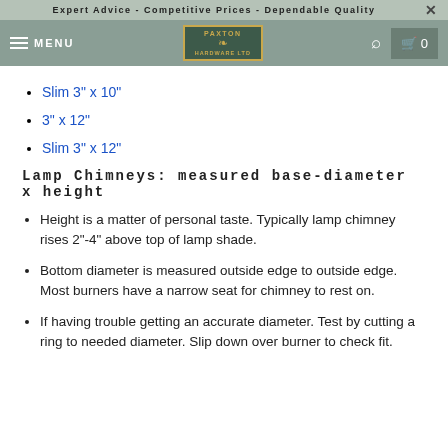Expert Advice - Competitive Prices - Dependable Quality
[Figure (screenshot): Navigation bar with hamburger menu, MENU text, Paxton Hardware Ltd logo, search icon, and cart icon showing 0]
Slim 3" x 10"
3" x 12"
Slim 3" x 12"
Lamp Chimneys: measured base-diameter x height
Height is a matter of personal taste. Typically lamp chimney rises 2"-4" above top of lamp shade.
Bottom diameter is measured outside edge to outside edge. Most burners have a narrow seat for chimney to rest on.
If having trouble getting an accurate diameter. Test by cutting a ring to needed diameter. Slip down over burner to check fit.